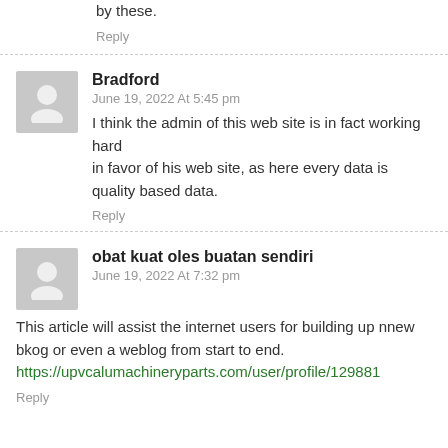by these.
Reply
Bradford
June 19, 2022 At 5:45 pm
I think the admin of this web site is in fact working hard in favor of his web site, as here every data is quality based data.
Reply
obat kuat oles buatan sendiri
June 19, 2022 At 7:32 pm
This article will assist the internet users for building up nnew bkog or even a weblog from start to end.
https://upvcalumachineryparts.com/user/profile/129881
Reply